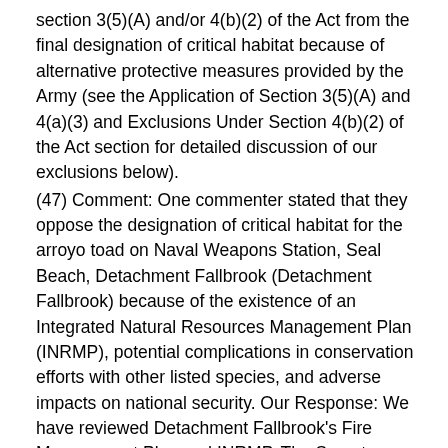section 3(5)(A) and/or 4(b)(2) of the Act from the final designation of critical habitat because of alternative protective measures provided by the Army (see the Application of Section 3(5)(A) and 4(a)(3) and Exclusions Under Section 4(b)(2) of the Act section for detailed discussion of our exclusions below).
(47) Comment: One commenter stated that they oppose the designation of critical habitat for the arroyo toad on Naval Weapons Station, Seal Beach, Detachment Fallbrook (Detachment Fallbrook) because of the existence of an Integrated Natural Resources Management Plan (INRMP), potential complications in conservation efforts with other listed species, and adverse impacts on national security. Our Response: We have reviewed Detachment Fallbrook's Fire Management Plan and INRMP. The Secretary determined, in writing, that Detachment Fallbrook's INRMP provides a benefit to the arroyo toad and therefore, consistent with Public Law 108-136 (Nov. 2003): Nat. Defense Authorization Act for FY04 and Section 4(a)(3) of